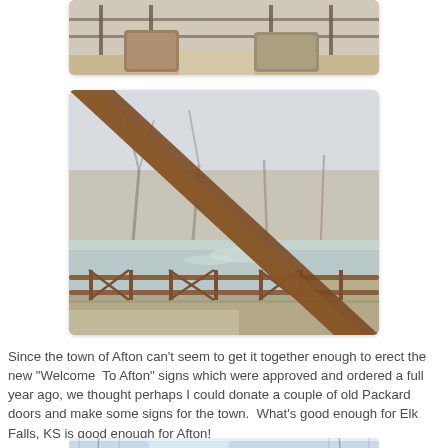[Figure (photo): Outdoor photo showing two large stone blocks or boulders on a path, with a metal fence in the background and dry grass/winter vegetation.]
[Figure (photo): Winter outdoor photo taken from a bridge or elevated structure, showing a river or creek below with bare trees along the banks. A rusty metal beam/railing is visible in the foreground.]
Since the town of Afton can't seem to get it together enough to erect the new "Welcome  To Afton" signs which were approved and ordered a full year ago, we thought perhaps I could donate a couple of old Packard doors and make some signs for the town.  What's good enough for Elk Falls, KS is good enough for Afton!
[Figure (photo): Partial view of a building exterior in winter, with trees visible in the background. Only the top portion of the photo is visible (cropped at bottom of page).]